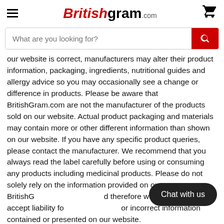Britishgram.com
our website is correct, manufacturers may alter their product information, packaging, ingredients, nutritional guides and allergy advice so you may occasionally see a change or difference in products. Please be aware that BritishGram.com are not the manufacturer of the products sold on our website. Actual product packaging and materials may contain more or other different information than shown on our website. If you have any specific product queries, please contact the manufacturer. We recommend that you always read the label carefully before using or consuming any products including medicinal products. Please do not solely rely on the information provided on our BritishGram.com website and therefore we are unable to accept liability for any inaccurate or incorrect information contained or presented on our website.